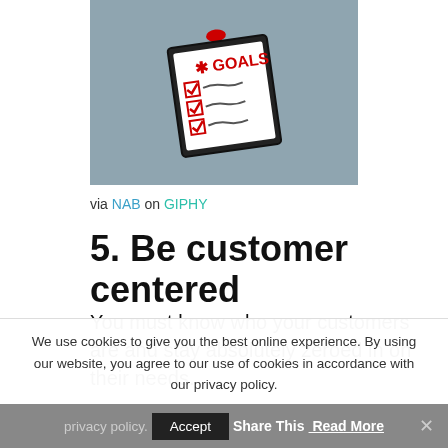[Figure (illustration): Animated GIF of a clipboard with GOALS written in red at the top, and three checked checkboxes with red checkmarks and scribble text, slightly rotated, on a gray background.]
via NAB on GIPHY
5. Be customer centered
You must know who your customers are and stay absolutely zeroed in on their needs.
We use cookies to give you the best online experience. By using our website, you agree to our use of cookies in accordance with our privacy policy.
Accept  Share This  Read More  ×